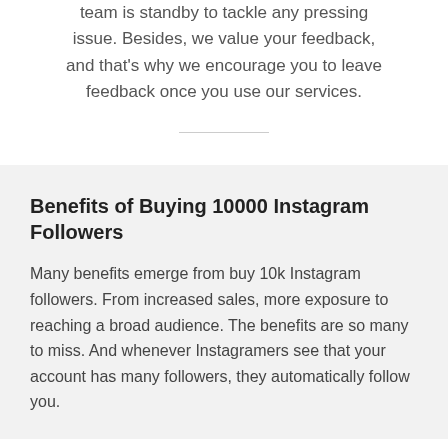team is standby to tackle any pressing issue. Besides, we value your feedback, and that's why we encourage you to leave feedback once you use our services.
Benefits of Buying 10000 Instagram Followers
Many benefits emerge from buy 10k Instagram followers. From increased sales, more exposure to reaching a broad audience. The benefits are so many to miss. And whenever Instagramers see that your account has many followers, they automatically follow you.